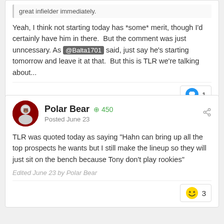great infielder immediately.
Yeah, I think not starting today has *some* merit, though I'd certainly have him in there. But the comment was just unncessary. As @Balta1701 said, just say he's starting tomorrow and leave it at that. But this is TLR we're talking about...
Polar Bear +450 Posted June 23
TLR was quoted today as saying "Hahn can bring up all the top prospects he wants but I still make the lineup so they will just sit on the bench because Tony don't play rookies"
Edited June 23 by Polar Bear